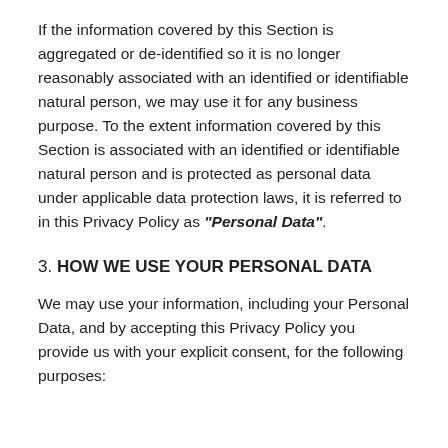If the information covered by this Section is aggregated or de-identified so it is no longer reasonably associated with an identified or identifiable natural person, we may use it for any business purpose. To the extent information covered by this Section is associated with an identified or identifiable natural person and is protected as personal data under applicable data protection laws, it is referred to in this Privacy Policy as "Personal Data".
3. HOW WE USE YOUR PERSONAL DATA
We may use your information, including your Personal Data, and by accepting this Privacy Policy you provide us with your explicit consent, for the following purposes: